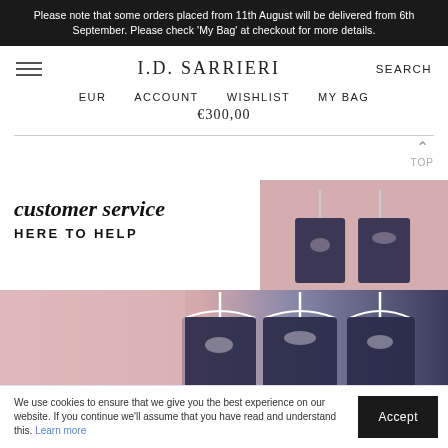Please note that some orders placed from 11th August will be delivered from 6th September. Please check 'My Bag' at checkout for more details.
I.D. SARRIERI
SEARCH
EUR  ACCOUNT  WISHLIST  MY BAG
€300,00
TOP
customer service
HERE TO HELP
[Figure (photo): Dark navy lace garments hanging on white hangers against a pink/rose background]
We use cookies to ensure that we give you the best experience on our website. If you continue we'll assume that you have read and understand this. Learn more